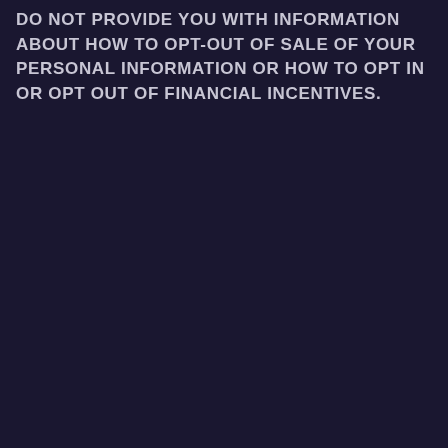DO NOT PROVIDE YOU WITH INFORMATION ABOUT HOW TO OPT-OUT OF SALE OF YOUR PERSONAL INFORMATION OR HOW TO OPT IN OR OPT OUT OF FINANCIAL INCENTIVES.